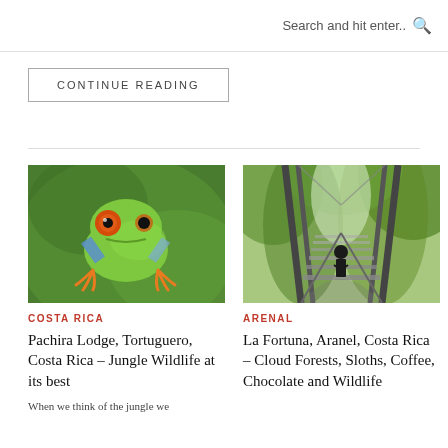Search and hit enter..
CONTINUE READING
[Figure (photo): Close-up of a red-eyed tree frog on a green leaf, with orange feet and blue accents on its sides]
COSTA RICA
Pachira Lodge, Tortuguero, Costa Rica – Jungle Wildlife at its best
When we think of the jungle we
[Figure (photo): A suspension bridge in a lush green forest with a person walking along it, surrounded by tall trees]
ARENAL
La Fortuna, Aranel, Costa Rica – Cloud Forests, Sloths, Coffee, Chocolate and Wildlife